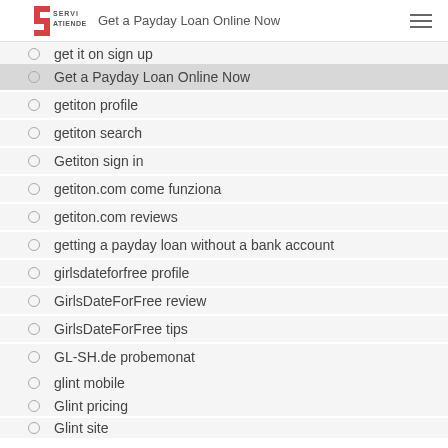SERVI ATIENDE | Get a Payday Loan Online Now
get it on sign up
Get a Payday Loan Online Now
getiton profile
getiton search
Getiton sign in
getiton.com come funziona
getiton.com reviews
getting a payday loan without a bank account
girlsdateforfree profile
GirlsDateForFree review
GirlsDateForFree tips
GL-SH.de probemonat
glint mobile
Glint pricing
Glint site
golfamkatzberg.net
Good Grief review
good online installment loans